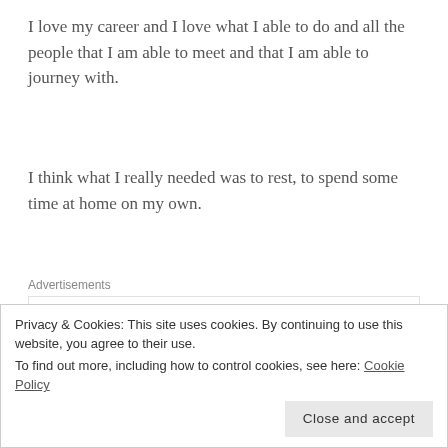I love my career and I love what I able to do and all the people that I am able to meet and that I am able to journey with.
I think what I really needed was to rest, to spend some time at home on my own.
[Figure (other): Automattic advertisement banner reading 'Build a better web and a better world.']
I have still been going out but not as much as I have wanted to.
Privacy & Cookies: This site uses cookies. By continuing to use this website, you agree to their use. To find out more, including how to control cookies, see here: Cookie Policy